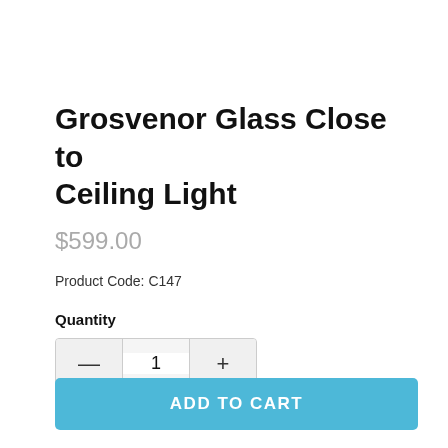Grosvenor Glass Close to Ceiling Light
$599.00
Product Code: C147
Quantity
1
ADD TO CART